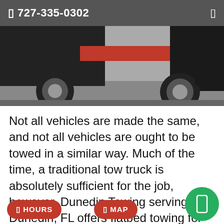727-335-0302
[Figure (photo): Close-up photograph of the undercarriage and wheels of a flatbed tow truck, showing red and black vehicle parts, large tires, and a concrete/asphalt surface.]
Not all vehicles are made the same, and not all vehicles are ought to be towed in a similar way. Much of the time, a traditional tow truck is absolutely sufficient for the job, however, Dunedin Towing serving Dunedin, FL offers flatbed towing for custom tow truck just wo... all drive. Does it
HOURS
MAP